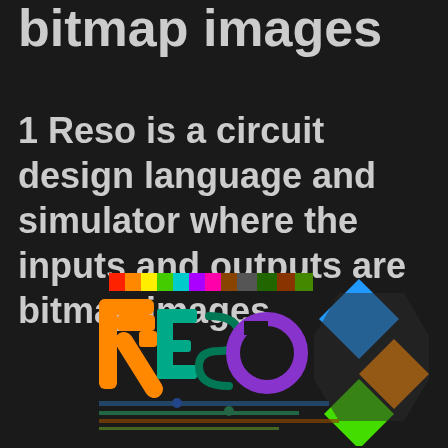bitmap images
1 Reso is a circuit design language and simulator where the inputs and outputs are bitmap images
[Figure (logo): Reso logo — colorful stylized text 'reso' with circuit-board aesthetic, featuring orange, green, teal, and purple colors, accompanied by diamond shapes in blue, orange, and green on a dark background]